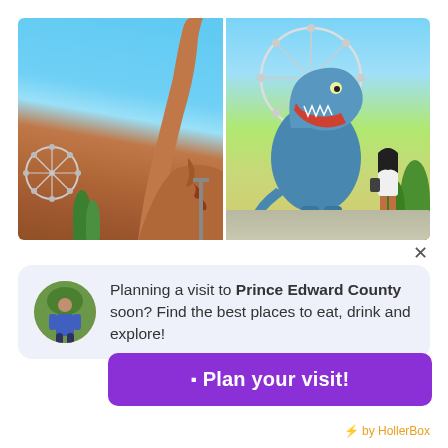[Figure (photo): Two side-by-side photos of dinosaur statues at an amusement park with a Ferris wheel visible in the background. Left photo shows a tall brown/orange brachiosaurus-type dinosaur against a blue sky. Right photo shows a blue T-Rex dinosaur with a woman standing nearby, and a Ferris wheel behind.]
Planning a visit to Prince Edward County soon? Find the best places to eat, drink and explore!
⬛ Plan your visit!
⚡ by HollerBox